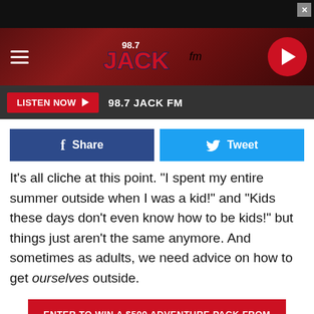[Figure (screenshot): Black ad bar at top with close X button]
[Figure (logo): 98.7 Jack FM radio station header banner with hamburger menu, logo, and play button]
[Figure (screenshot): Listen Now button bar with 98.7 JACK FM text on dark background]
[Figure (screenshot): Facebook Share and Twitter Tweet social sharing buttons]
It's all cliche at this point. "I spent my entire summer outside when I was a kid!" and "Kids these days don't even know how to be kids!" but things just aren't the same anymore. And sometimes as adults, we need advice on how to get ourselves outside.
[Figure (screenshot): Red CTA button: ENTER TO WIN A $500 ADVENTURE PACK FROM REI]
[Figure (screenshot): Texas State Optical bottom advertisement: MAXIMIZE YOUR VISION BENEFITS with glasses icon]